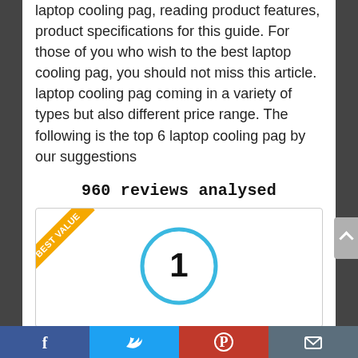laptop cooling pag, reading product features, product specifications for this guide. For those of you who wish to the best laptop cooling pag, you should not miss this article. laptop cooling pag coming in a variety of types but also different price range. The following is the top 6 laptop cooling pag by our suggestions
960 reviews analysed
[Figure (infographic): A white card with a gold 'BEST VALUE' ribbon banner in the top-left corner and a blue circle containing the number 1 centered in the card.]
Social sharing bar with Facebook, Twitter, Pinterest, and email icons